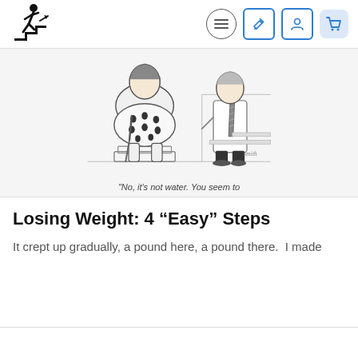[Figure (logo): Person walking up stairs icon (stick figure climbing steps with arrow)]
[Figure (illustration): Cartoon drawing of an overweight patient standing on a scale at a doctor's office. Doctor stands to the right. Caption reads: 'No, it's not water. You seem to']
"No, it's not water. You seem to
Losing Weight: 4 “Easy” Steps
It crept up gradually, a pound here, a pound there.  I made